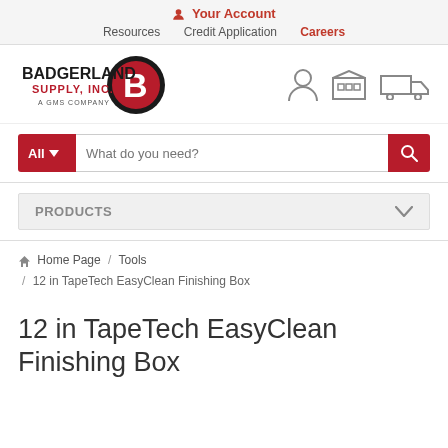Your Account | Resources | Credit Application | Careers
[Figure (logo): Badgerland Supply, Inc. — A GMS Company logo with red and black circular emblem]
[Figure (infographic): Header icons: user/account icon, warehouse/building icon, delivery truck icon]
All  What do you need?
PRODUCTS
Home Page / Tools / 12 in TapeTech EasyClean Finishing Box
12 in TapeTech EasyClean Finishing Box